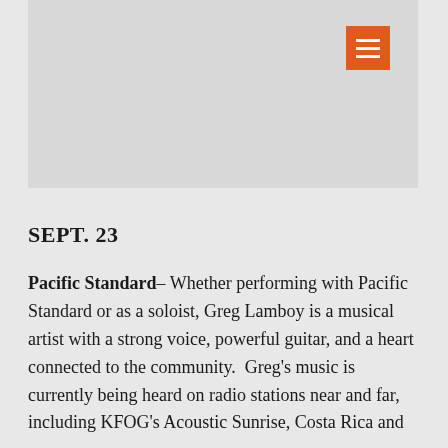[Figure (photo): Gray header image area with orange hamburger menu button in top right corner]
SEPT. 23
Pacific Standard– Whether performing with Pacific Standard or as a soloist, Greg Lamboy is a musical artist with a strong voice, powerful guitar, and a heart connected to the community.  Greg's music is currently being heard on radio stations near and far, including KFOG's Acoustic Sunrise, Costa Rica and